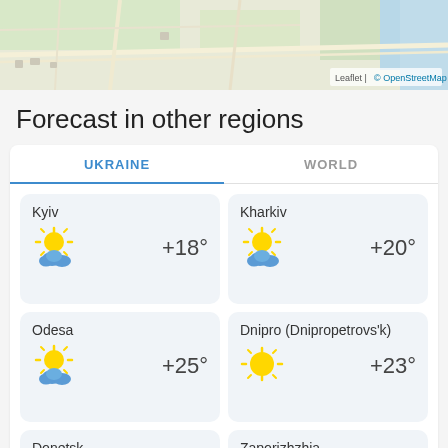[Figure (map): Partial map view (OpenStreetMap) showing a city area with roads and terrain. Attribution: Leaflet | © OpenStreetMap]
Forecast in other regions
| City | Temperature |
| --- | --- |
| Kyiv | +18° |
| Kharkiv | +20° |
| Odesa | +25° |
| Dnipro (Dnipropetrovs'k) | +23° |
| Donetsk | +24° |
| Zaporizhzhia | +24° |